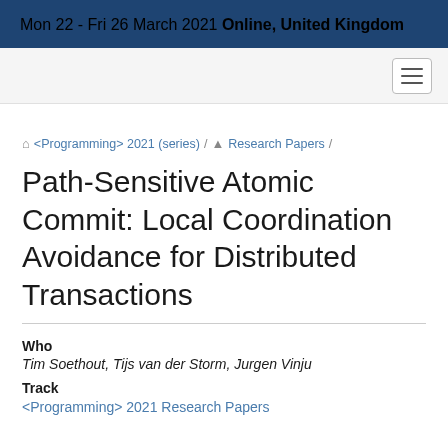Mon 22 - Fri 26 March 2021 Online, United Kingdom
Home / <Programming> 2021 (series) / Research Papers /
Path-Sensitive Atomic Commit: Local Coordination Avoidance for Distributed Transactions
Who
Tim Soethout, Tijs van der Storm, Jurgen Vinju
Track
<Programming> 2021 Research Papers